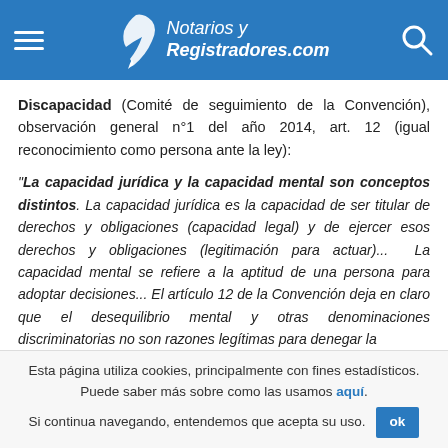Notarios y Registradores.com
Discapacidad (Comité de seguimiento de la Convención), observación general n°1 del año 2014, art. 12 (igual reconocimiento como persona ante la ley):
"La capacidad jurídica y la capacidad mental son conceptos distintos. La capacidad jurídica es la capacidad de ser titular de derechos y obligaciones (capacidad legal) y de ejercer esos derechos y obligaciones (legitimación para actuar)... La capacidad mental se refiere a la aptitud de una persona para adoptar decisiones... El artículo 12 de la Convención deja en claro que el desequilibrio mental y otras denominaciones discriminatorias no son razones legítimas para denegar la
Esta página utiliza cookies, principalmente con fines estadísticos. Puede saber más sobre como las usamos aquí. Si continua navegando, entendemos que acepta su uso.